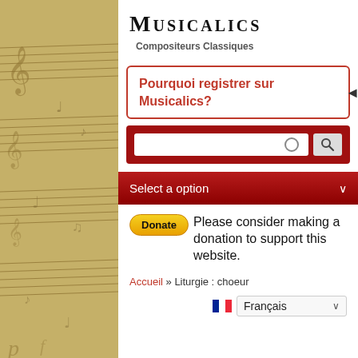Musicalics
Compositeurs Classiques
Pourquoi registrer sur Musicalics?
[Figure (screenshot): Search input field with circle icon and magnifying glass search button on dark red background]
Select a option
Donate  Please consider making a donation to support this website.
Accueil » Liturgie : choeur
Français